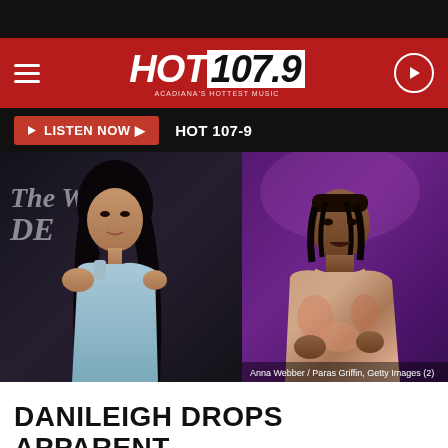HOT 107.9 – ACADIANA'S HOTTEST MUSIC
LISTEN NOW ▶  HOT 107-9
[Figure (photo): Two side-by-side celebrity photos: left shows a woman in a light blue dress with long dark hair at an event backdrop reading 'The W... DE...'; right shows a male rapper performing on stage under purple lighting, wearing a colorful hoodie and chain necklace. Caption reads: Anna Webber / Paras Griffin, Getty Images (2)]
DANILEIGH DROPS APPARENT